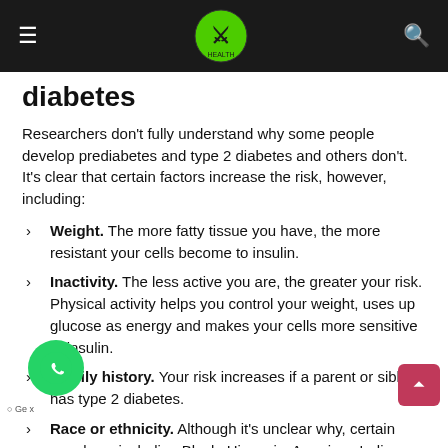Navigation header with hamburger menu, logo, and search icon
diabetes
Researchers don't fully understand why some people develop prediabetes and type 2 diabetes and others don't. It's clear that certain factors increase the risk, however, including:
Weight. The more fatty tissue you have, the more resistant your cells become to insulin.
Inactivity. The less active you are, the greater your risk. Physical activity helps you control your weight, uses up glucose as energy and makes your cells more sensitive to insulin.
Family history. Your risk increases if a parent or sibling has type 2 diabetes.
Race or ethnicity. Although it's unclear why, certain people — including Black, Hispanic, American Indian and Asian American people — are at higher risk.